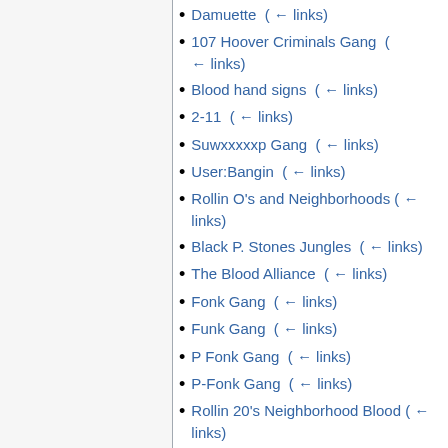Damuette  (← links)
107 Hoover Criminals Gang  (← links)
Blood hand signs  (← links)
2-11  (← links)
Suwxxxxxp Gang  (← links)
User:Bangin  (← links)
Rollin O's and Neighborhoods  (← links)
Black P. Stones Jungles  (← links)
The Blood Alliance  (← links)
Fonk Gang  (← links)
Funk Gang  (← links)
P Fonk Gang  (← links)
P-Fonk Gang  (← links)
Rollin 20's Neighborhood Blood  (← links)
Rollin 20's Neighborhood Bloods